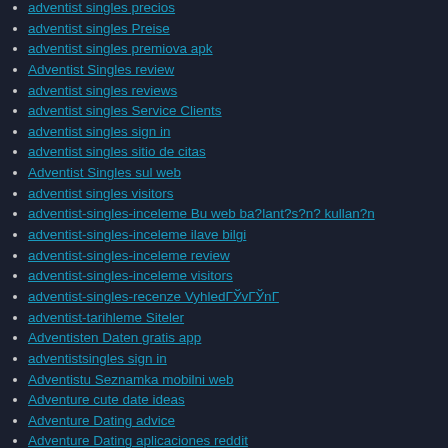adventist singles precios
adventist singles Preise
adventist singles premiova apk
Adventist Singles review
adventist singles reviews
adventist singles Service Clients
adventist singles sign in
adventist singles sitio de citas
Adventist Singles sul web
adventist singles visitors
adventist-singles-inceleme Bu web ba?lant?s?n? kullan?n
adventist-singles-inceleme ilave bilgi
adventist-singles-inceleme review
adventist-singles-inceleme visitors
adventist-singles-recenze VyhledГЎvГЎnГ
adventist-tarihleme Siteler
Adventisten Daten gratis app
adventistsingles sign in
Adventistu Seznamka mobilni web
Adventure cute date ideas
Adventure Dating advice
Adventure Dating aplicaciones reddit
Adventure Dating aplikacje reddit
Adventure Dating app
Adventure Dating dienst